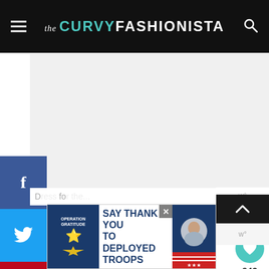the CURVY FASHIONISTA
[Figure (screenshot): Social media share buttons on left side: Facebook (blue), Twitter (light blue), Pinterest (red), LinkedIn (blue)]
[Figure (screenshot): Main content image area (light gray placeholder)]
[Figure (screenshot): What's Next panel with thumbnail and text 'Influential Plus Size...']
[Figure (screenshot): Heart/like button showing 943 likes and share button]
D... ...es fo... ...w°
[Figure (screenshot): Advertisement banner: OPERATION GRATITUDE - SAY THANK YOU TO DEPLOYED TROOPS]